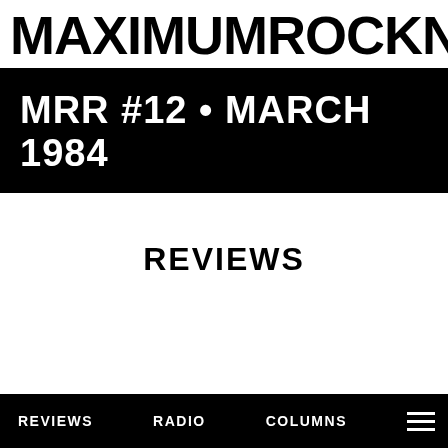MAXIMUMROCKNROLL
MRR #12 • MARCH 1984
REVIEWS
REVIEWS   RADIO   COLUMNS